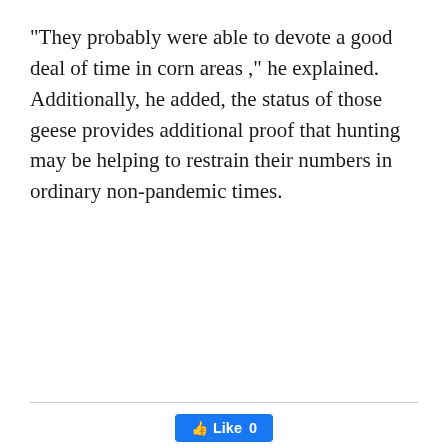“They probably were able to devote a good deal of time in corn areas ,” he explained. Additionally, he added, the status of those geese provides additional proof that hunting may be helping to restrain their numbers in ordinary non-pandemic times.
[Figure (other): Social sharing buttons: Facebook Like button (count 0), and four share buttons for Facebook, Twitter, Pinterest, and WhatsApp]
Previous article
‘Fixing us like robots’: Amazon Employees seek Marriage
Next article
UK Version Seekers Direct International race to stay ahead of All COVID